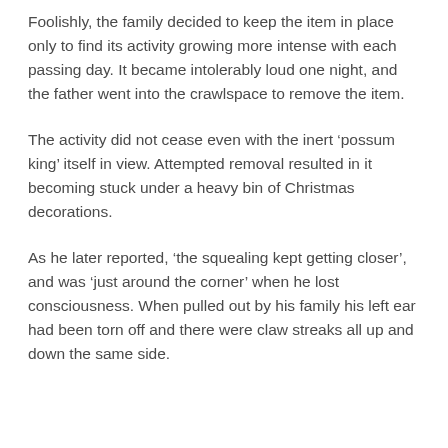Foolishly, the family decided to keep the item in place only to find its activity growing more intense with each passing day. It became intolerably loud one night, and the father went into the crawlspace to remove the item.
The activity did not cease even with the inert ‘possum king’ itself in view. Attempted removal resulted in it becoming stuck under a heavy bin of Christmas decorations.
As he later reported, ‘the squealing kept getting closer’, and was ‘just around the corner’ when he lost consciousness. When pulled out by his family his left ear had been torn off and there were claw streaks all up and down the same side.